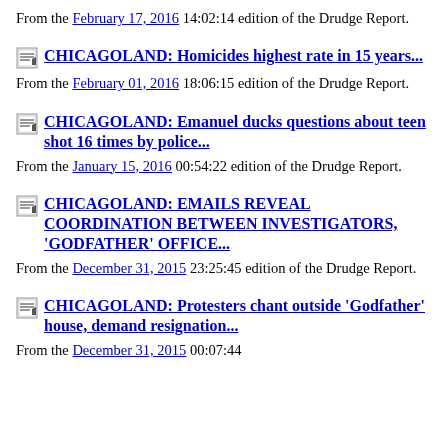From the February 17, 2016 14:02:14 edition of the Drudge Report.
CHICAGOLAND: Homicides highest rate in 15 years...
From the February 01, 2016 18:06:15 edition of the Drudge Report.
CHICAGOLAND: Emanuel ducks questions about teen shot 16 times by police...
From the January 15, 2016 00:54:22 edition of the Drudge Report.
CHICAGOLAND: EMAILS REVEAL COORDINATION BETWEEN INVESTIGATORS, 'GODFATHER' OFFICE...
From the December 31, 2015 23:25:45 edition of the Drudge Report.
CHICAGOLAND: Protesters chant outside 'Godfather' house, demand resignation...
From the December 31, 2015 00:07:44